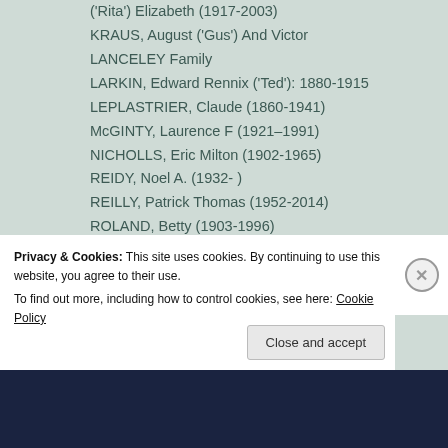('Rita') Elizabeth (1917-2003)
KRAUS, August ('Gus') And Victor
LANCELEY Family
LARKIN, Edward Rennix ('Ted'): 1880-1915
LEPLASTRIER, Claude (1860-1941)
McGINTY, Laurence F (1921–1991)
NICHOLLS, Eric Milton (1902-1965)
REIDY, Noel A. (1932- )
REILLY, Patrick Thomas (1952-2014)
ROLAND, Betty (1903-1996)
SELDON, Richard 1817 – 1885
SMITH, Joseph Knight (1868-)
SWANN, William (1837–1909)
WARNER, David (1930-1982)
Privacy & Cookies: This site uses cookies. By continuing to use this website, you agree to their use.
To find out more, including how to control cookies, see here: Cookie Policy